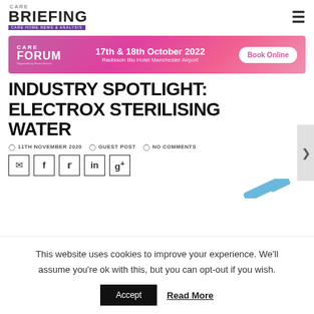CARE BRIEFING — CARE HOME NEWS & ANALYSIS
[Figure (infographic): Care Forum advertisement banner: 17th & 18th October 2022, Radisson Blu Hotel Manchester Airport, Book Online button]
INDUSTRY SPOTLIGHT: ELECTROX STERILISING WATER
11TH NOVEMBER 2020   GUEST POST   NO COMMENTS
[Figure (infographic): Social sharing buttons: email, Facebook, Twitter, LinkedIn, Google+]
[Figure (photo): Partial image of a blue tool/object at bottom right]
This website uses cookies to improve your experience. We'll assume you're ok with this, but you can opt-out if you wish.
Accept   Read More